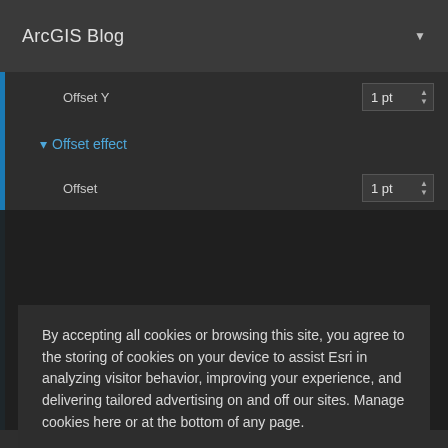ArcGIS Blog
Offset Y
1 pt
Offset effect
Offset
1 pt
By accepting all cookies or browsing this site, you agree to the storing of cookies on your device to assist Esri in analyzing visitor behavior, improving your experience, and delivering tailored advertising on and off our sites. Manage cookies here or at the bottom of any page.
Accept All Cookies
Cookies Settings